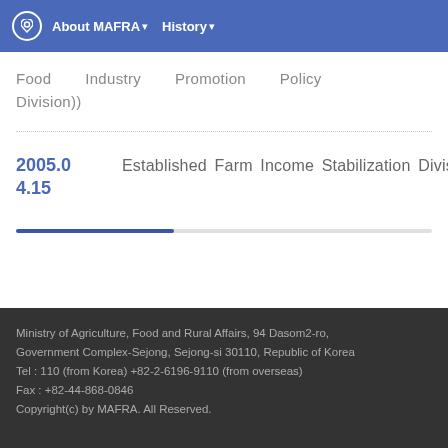About MAFRA  History
Oceans and Fisheries Policy Division), and the Ministry of Health & Welfare (the Food Industry Promotion Policy Division))
2005.04.15  Established Farm Income Stabilization Division
Ministry of Agriculture, Food and Rural Affairs, 94 Dasom2-ro, Government Complex-Sejong, Sejong-si 30110, Republic of Korea
Tel : 110 (from Korea) +82-2-6196-9110 (from overseas)
Fax : +82-44-868-0846
Copyright(c) by MAFRA. All Rights Reserved.